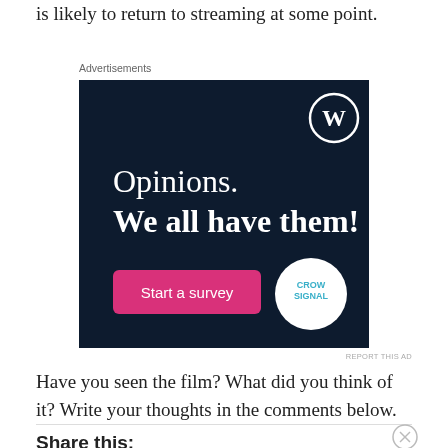is likely to return to streaming at some point.
Advertisements
[Figure (screenshot): Dark navy blue advertisement for WordPress/Crowdsignal. Shows WordPress logo (W in circle) in top right. Large white text reads 'Opinions. We all have them!' with a pink/magenta 'Start a survey' button and a white Crowdsignal circular logo in the bottom right.]
REPORT THIS AD
Have you seen the film? What did you think of it? Write your thoughts in the comments below.
Share this: